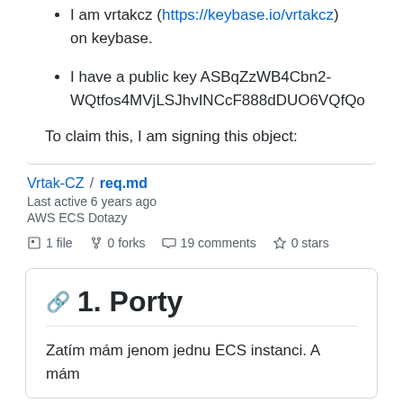I am vrtakcz (https://keybase.io/vrtakcz) on keybase.
I have a public key ASBqZzWB4Cbn2-WQtfos4MVjLSJhvINCcF888dDUO6VQfQo
To claim this, I am signing this object:
Vrtak-CZ / req.md
Last active 6 years ago
AWS ECS Dotazy
1 file  0 forks  19 comments  0 stars
1. Porty
Zatím mám jenom jednu ECS instanci. A mám